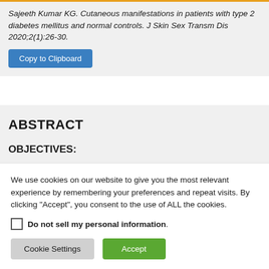Sajeeth Kumar KG. Cutaneous manifestations in patients with type 2 diabetes mellitus and normal controls. J Skin Sex Transm Dis 2020;2(1):26-30.
Copy to Clipboard
ABSTRACT
OBJECTIVES:
We use cookies on our website to give you the most relevant experience by remembering your preferences and repeat visits. By clicking "Accept", you consent to the use of ALL the cookies.
Do not sell my personal information
Cookie Settings
Accept